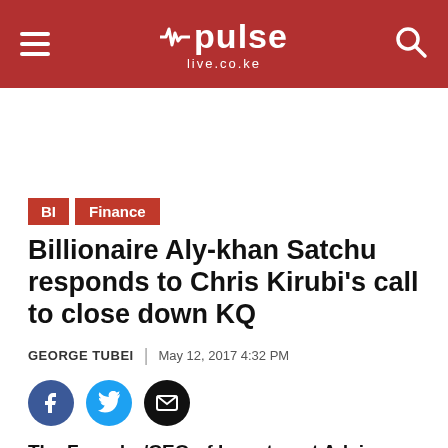pulse live.co.ke
BI
Finance
Billionaire Aly-khan Satchu responds to Chris Kirubi's call to close down KQ
GEORGE TUBEI | May 12, 2017 4:32 PM
[Figure (infographic): Social share icons: Facebook (blue circle), Twitter (light blue circle), Email (black circle with envelope icon)]
The Founder/CEO of Investment Advisory firm Risk Management bl...